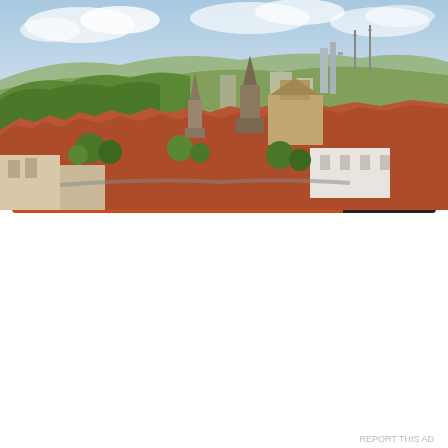[Figure (photo): Aerial panoramic view of Esslingen am Neckar, Germany, showing the old town with red-tiled rooftops, church spires, surrounding green hills, and modern city skyline in the background under a partly cloudy sky.]
Wine, Esslingen, some amazing views, oh and good friends to
Published by Jacob Thomas
Advertisements
[Figure (other): DuckDuckGo advertisement banner: orange left side with text 'Search, browse, and email with more privacy. All in One Free App', dark right side with DuckDuckGo duck logo and brand name.]